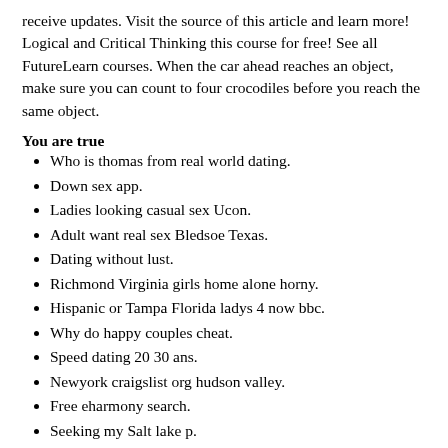receive updates. Visit the source of this article and learn more! Logical and Critical Thinking this course for free! See all FutureLearn courses. When the car ahead reaches an object, make sure you can count to four crocodiles before you reach the same object.
You are true
Who is thomas from real world dating.
Down sex app.
Ladies looking casual sex Ucon.
Adult want real sex Bledsoe Texas.
Dating without lust.
Richmond Virginia girls home alone horny.
Hispanic or Tampa Florida ladys 4 now bbc.
Why do happy couples cheat.
Speed dating 20 30 ans.
Newyork craigslist org hudson valley.
Free eharmony search.
Seeking my Salt lake p.
Gann valley SD sexy women.
Three stages of dating a narcissist.
Interactive dating games anime.
How weed is made.
Dating agency in south korea.